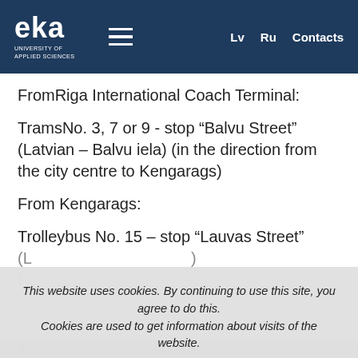eka UNIVERSITY OF APPLIED SCIENCES | Lv Ru Contacts
FromRiga International Coach Terminal:
TramsNo. 3, 7 or 9 - stop “Balvu Street” (Latvian – Balvu iela) (in the direction from the city centre to Kengarags)
From Kengarags:
Trolleybus No. 15 – stop “Lauvas Street”
This website uses cookies. By continuing to use this site, you agree to do this. Cookies are used to get information about visits of the website.